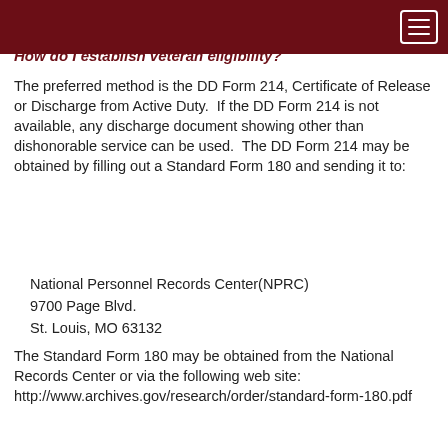How do I establish veteran eligibility?
The preferred method is the DD Form 214, Certificate of Release or Discharge from Active Duty.  If the DD Form 214 is not available, any discharge document showing other than dishonorable service can be used.  The DD Form 214 may be obtained by filling out a Standard Form 180 and sending it to:
National Personnel Records Center(NPRC)
9700 Page Blvd.
St. Louis, MO 63132
The Standard Form 180 may be obtained from the National Records Center or via the following web site: http://www.archives.gov/research/order/standard-form-180.pdf